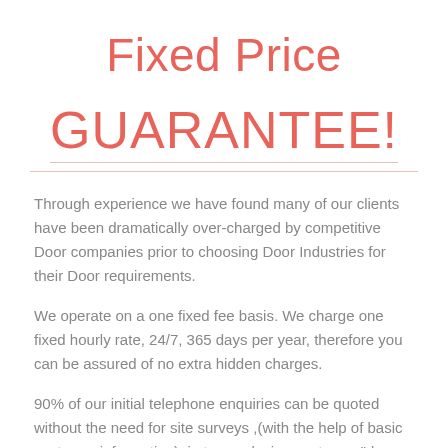Fixed Price GUARANTEE!
Through experience we have found many of our clients have been dramatically over-charged by competitive Door companies prior to choosing Door Industries for their Door requirements.
We operate on a one fixed fee basis. We charge one fixed hourly rate, 24/7, 365 days per year, therefore you can be assured of no extra hidden charges.
90% of our initial telephone enquiries can be quoted without the need for site surveys ,(with the help of basic customer information), in turn reducing customer "down time" and reducing time required for our site attendance.